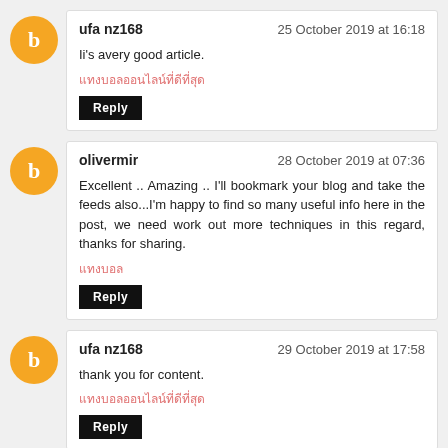ufa nz168 — 25 October 2019 at 16:18
Ii's avery good article.
[Thai link text]
Reply
olivermir — 28 October 2019 at 07:36
Excellent .. Amazing .. I'll bookmark your blog and take the feeds also...I'm happy to find so many useful info here in the post, we need work out more techniques in this regard, thanks for sharing.
[Thai link text]
Reply
ufa nz168 — 29 October 2019 at 17:58
thank you for content.
[Thai link text]
Reply